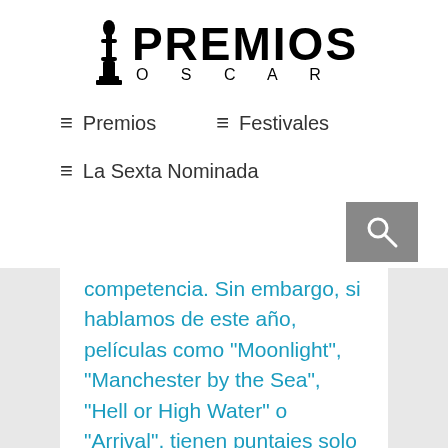[Figure (logo): Premios Oscar logo with Oscar statuette figure and bold text PREMIOS above, O S C A R below]
≡ Premios   ≡ Festivales
≡ La Sexta Nominada
competencia. Sin embargo, si hablamos de este año, películas como "Moonlight", "Manchester by the Sea", "Hell or High Water" o "Arrival", tienen puntajes solo superadas por